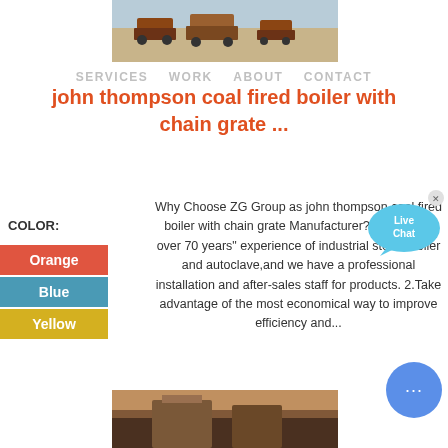[Figure (photo): Aerial or ground view of construction or mining trucks on pale sandy ground]
SERVICES   WORK   ABOUT   CONTACT
john thompson coal fired boiler with chain grate ...
Why Choose ZG Group as john thompson coal fired boiler with chain grate Manufacturer? 1.We have over 70 years" experience of industrial steam boiler and autoclave,and we have a professional installation and after-sales staff for products. 2.Take advantage of the most economical way to improve efficiency and...
COLOR:
Orange
Blue
Yellow
[Figure (photo): Industrial boiler or furnace interior photo at bottom of page]